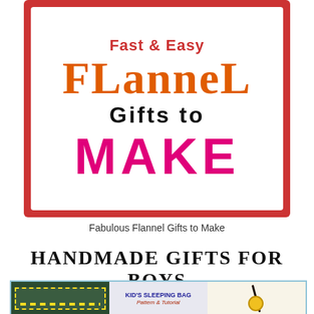[Figure (illustration): Decorative title card with red scalloped border on white background. Text reads: 'Fast & Easy' in red, 'FLANNEL' in large orange display font, 'Gifts to' in black, 'MAKE' in large hot-pink bold letters.]
Fabulous Flannel Gifts to Make
HANDMADE GIFTS FOR BOYS
[Figure (photo): Bottom strip showing three photos side by side: a dark green sleeping bag or craft item with yellow stitching on left, a white card reading "KID'S SLEEPING BAG Pattern & Tutorial" in the middle, and a yellow/black craft project on the right. Blue border around the strip.]